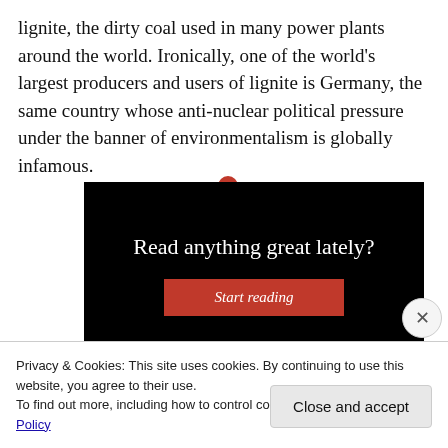lignite, the dirty coal used in many power plants around the world. Ironically, one of the world's largest producers and users of lignite is Germany, the same country whose anti-nuclear political pressure under the banner of environmentalism is globally infamous.
[Figure (screenshot): A dark promotional banner with white serif text 'Read anything great lately?' and a red 'Start reading' button, with vertical grey lines on the sides and a small red dot at the top center.]
Privacy & Cookies: This site uses cookies. By continuing to use this website, you agree to their use.
To find out more, including how to control cookies, see here: Cookie Policy
Close and accept